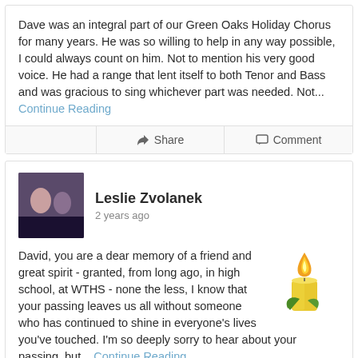Dave was an integral part of our Green Oaks Holiday Chorus for many years. He was so willing to help in any way possible, I could always count on him. Not to mention his very good voice. He had a range that lent itself to both Tenor and Bass and was gracious to sing whichever part was needed. Not... Continue Reading
Leslie Zvolanek
2 years ago
David, you are a dear memory of a friend and great spirit - granted, from long ago, in high school, at WTHS - none the less, I know that your passing leaves us all without someone who has continued to shine in everyone's lives you've touched. I'm so deeply sorry to hear about your passing, but... Continue Reading